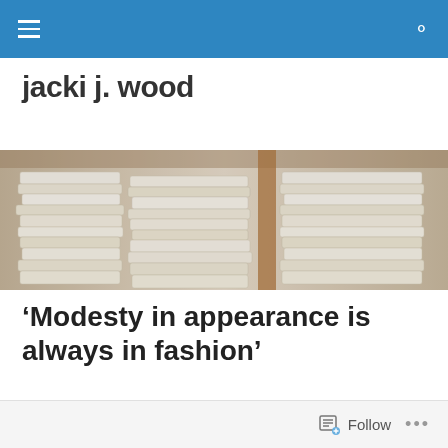jacki j. wood
[Figure (photo): Stacks of folded white fabric or linen sheets on wooden shelves, with a blurred warm-toned background]
‘Modesty in appearance is always in fashion’
“That they might have joy” column by Jacki Wood
Follow ...